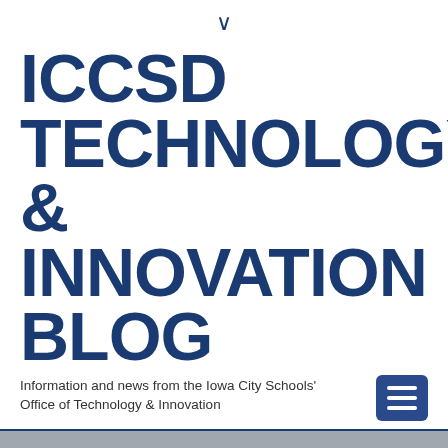▾
ICCSD TECHNOLOGY & INNOVATION BLOG
Information and news from the Iowa City Schools' Office of Technology & Innovation
Home › 2017 › April › 4 › Email Transition
English